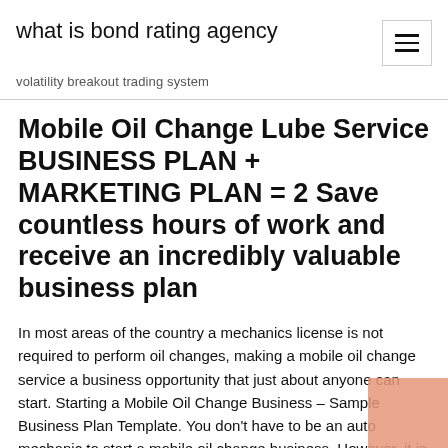what is bond rating agency
volatility breakout trading system
Mobile Oil Change Lube Service BUSINESS PLAN + MARKETING PLAN = 2 Save countless hours of work and receive an incredibly valuable business plan
In most areas of the country a mechanics license is not required to perform oil changes, making a mobile oil change service a business opportunity that just about anyone can start. Starting a Mobile Oil Change Business – Sample Business Plan Template. You don't have to be an auto mechanic to start a mobile oil change business. However, it is important that you learn all the business techniques like how to change oil, which